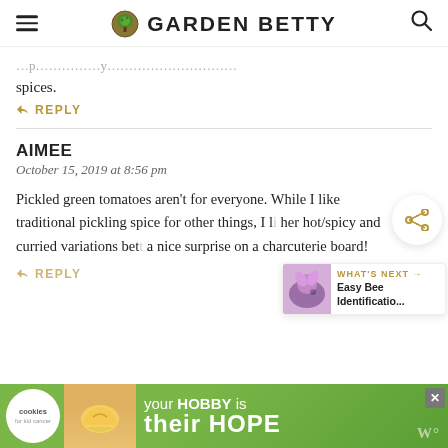GARDEN BETTY
spices.
↩ REPLY
AIMEE
October 15, 2019 at 8:56 pm
Pickled green tomatoes aren't for everyone. While I like traditional pickling spice for other things, I like her hot/spicy and curried variations better — a nice surprise on a charcuterie board!
↩ REPLY
[Figure (screenshot): Advertisement banner: cookies for kid cancer charity, your HOBBY is their HOPE, green background with heart cookie image]
[Figure (infographic): What's Next widget showing Easy Bee Identification with purple flower photo]